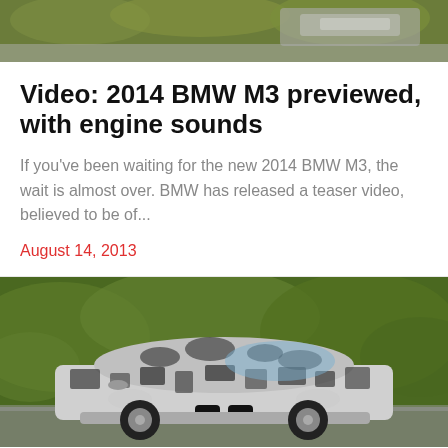[Figure (photo): Top portion of a car photo, showing blurred green foliage background and partial view of a vehicle — cropped at top of page]
Video: 2014 BMW M3 previewed, with engine sounds
If you've been waiting for the new 2014 BMW M3, the wait is almost over. BMW has released a teaser video, believed to be of...
August 14, 2013
[Figure (photo): A camouflaged 2014 BMW M3 prototype sedan driving on a road with blurred green foliage in the background. The car is wrapped in black and white camouflage livery.]